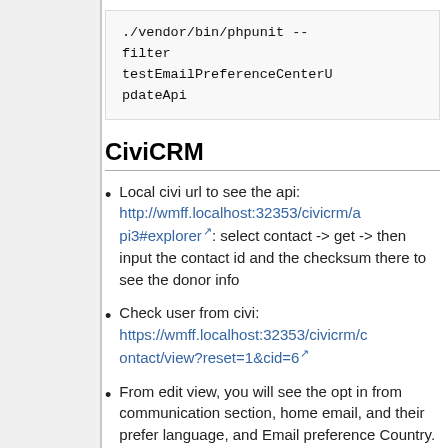./vendor/bin/phpunit --filter testEmailPreferenceCenterUpdateApi
CiviCRM
Local civi url to see the api: http://wmff.localhost:32353/civicrm/api3#explorer: select contact -> get -> then input the contact id and the checksum there to see the donor info
Check user from civi: https://wmff.localhost:32353/civicrm/contact/view?reset=1&cid=6
From edit view, you will see the opt in from communication section, home email, and their prefer language, and Email preference Country.